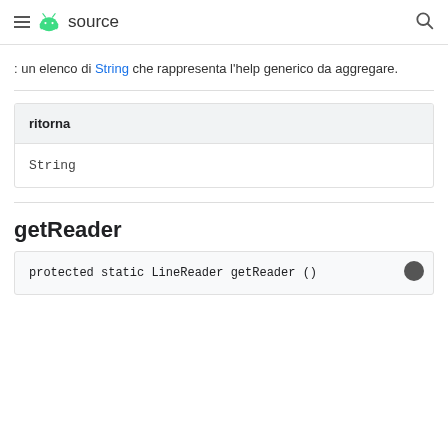≡ 🤖 source 🔍
: un elenco di String che rappresenta l'help generico da aggregare.
| ritorna |
| --- |
| String |
getReader
protected static LineReader getReader ()